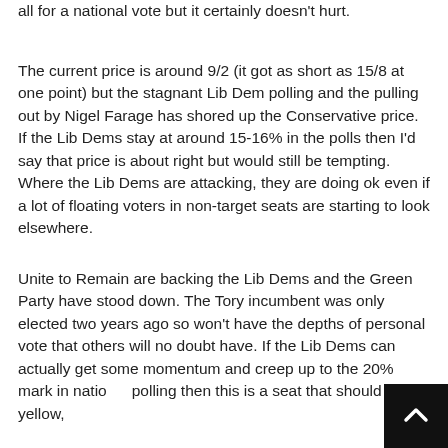all for a national vote but it certainly doesn't hurt.
The current price is around 9/2 (it got as short as 15/8 at one point) but the stagnant Lib Dem polling and the pulling out by Nigel Farage has shored up the Conservative price. If the Lib Dems stay at around 15-16% in the polls then I'd say that price is about right but would still be tempting. Where the Lib Dems are attacking, they are doing ok even if a lot of floating voters in non-target seats are starting to look elsewhere.
Unite to Remain are backing the Lib Dems and the Green Party have stood down. The Tory incumbent was only elected two years ago so won't have the depths of personal vote that others will no doubt have. If the Lib Dems can actually get some momentum and creep up to the 20% mark in national polling then this is a seat that should go yellow,